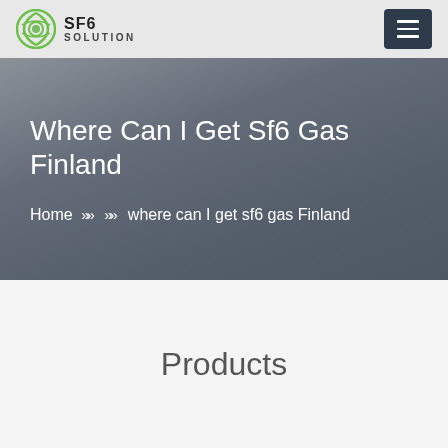SF6 SOLUTION
Where Can I Get Sf6 Gas Finland
Home » » where can I get sf6 gas Finland
Products